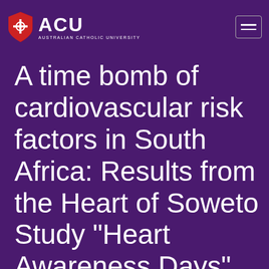ACU AUSTRALIAN CATHOLIC UNIVERSITY
A time bomb of cardiovascular risk factors in South Africa: Results from the Heart of Soweto Study "Heart Awareness Days"